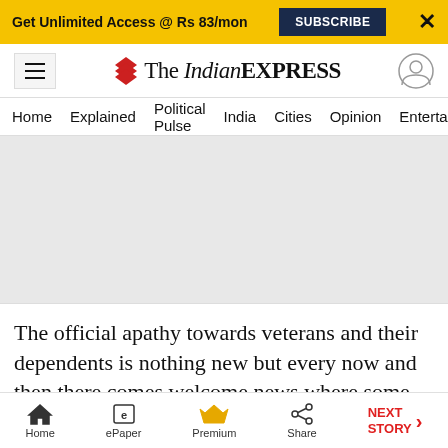Get Unlimited Access @ Rs 83/mon  [SUBSCRIBE]  X
The Indian EXPRESS — navigation header
Home | Explained | Political Pulse | India | Cities | Opinion | Entertainment
[Figure (other): Advertisement image placeholder (grey rectangle)]
The official apathy towards veterans and their dependents is nothing new but every now and then there comes welcome news where some veteran or dependent wins the legal battle finally
Home | ePaper | Premium | Share | NEXT STORY →